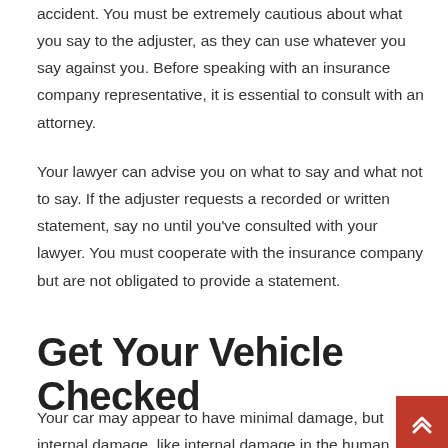accident. You must be extremely cautious about what you say to the adjuster, as they can use whatever you say against you. Before speaking with an insurance company representative, it is essential to consult with an attorney.
Your lawyer can advise you on what to say and what not to say. If the adjuster requests a recorded or written statement, say no until you've consulted with your lawyer. You must cooperate with the insurance company but are not obligated to provide a statement.
Get Your Vehicle Checked
Your car may appear to have minimal damage, but internal damage, like internal damage in the human